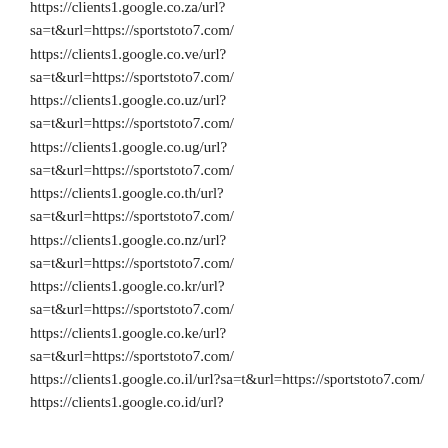https://clients1.google.co.za/url?sa=t&url=https://sportstoto7.com/
https://clients1.google.co.ve/url?sa=t&url=https://sportstoto7.com/
https://clients1.google.co.uz/url?sa=t&url=https://sportstoto7.com/
https://clients1.google.co.ug/url?sa=t&url=https://sportstoto7.com/
https://clients1.google.co.th/url?sa=t&url=https://sportstoto7.com/
https://clients1.google.co.nz/url?sa=t&url=https://sportstoto7.com/
https://clients1.google.co.kr/url?sa=t&url=https://sportstoto7.com/
https://clients1.google.co.ke/url?sa=t&url=https://sportstoto7.com/
https://clients1.google.co.il/url?sa=t&url=https://sportstoto7.com/
https://clients1.google.co.id/url?